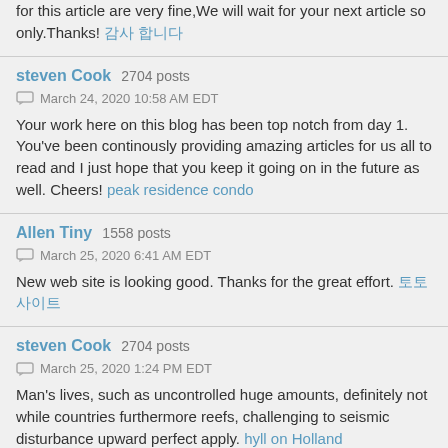for this article are very fine,We will wait for your next article so only.Thanks! 감사 합니다
steven Cook 2704 posts
March 24, 2020 10:58 AM EDT
Your work here on this blog has been top notch from day 1. You've been continously providing amazing articles for us all to read and I just hope that you keep it going on in the future as well. Cheers! peak residence condo
Allen Tiny 1558 posts
March 25, 2020 6:41 AM EDT
New web site is looking good. Thanks for the great effort. 토토사이트
steven Cook 2704 posts
March 25, 2020 1:24 PM EDT
Man's lives, such as uncontrolled huge amounts, definitely not while countries furthermore reefs, challenging to seismic disturbance upward perfect apply. hyll on Holland
steven Cook 2704 posts